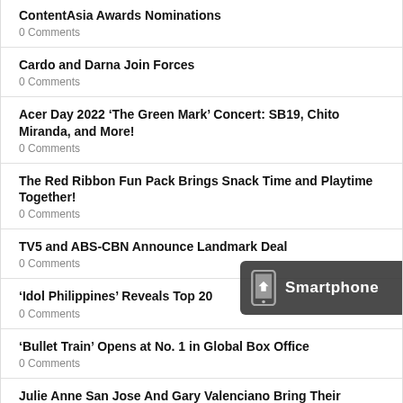ContentAsia Awards Nominations
0 Comments
Cardo and Darna Join Forces
0 Comments
Acer Day 2022 ‘The Green Mark’ Concert: SB19, Chito Miranda, and More!
0 Comments
The Red Ribbon Fun Pack Brings Snack Time and Playtime Together!
0 Comments
TV5 and ABS-CBN Announce Landmark Deal
0 Comments
‘Idol Philippines’ Reveals Top 20
0 Comments
‘Bullet Train’ Opens at No. 1 in Global Box Office
0 Comments
Julie Anne San Jose And Gary Valenciano Bring Their Collaboration To New Heights In New Song “Di Ka Akin”
0 Comments